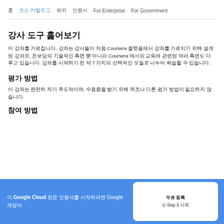홈   코스 카탈로그   학위   인증서   For Enterprise   For Government
강사 도구 훑어보기
이 강좌를 가르칩니다. 강좌는 강사들이 처음 Coursera 플랫폼에서 강좌를 가르치기 위해 설계된 강좌로, 온보딩의 기술적인 측면 뿐 아니라 Coursera 에서의 교육에 관련된 여러 측면도 다루고 있습니다. 강좌를 시작하기 전 약 7 가지의 선택적인 모듈로 나누어 학습할 수 있습니다.
평가 방법
이 강좌는 완전히 자기 주도적이며, 수료증을 받기 위해 퀴즈나 다른 평가 방법이 필요하지 않습니다.
참여 방법
이 Google Cloud 전문 인증서를 시작하려면 Google 계정이
무료 등록
⊙ Sep 3 시작